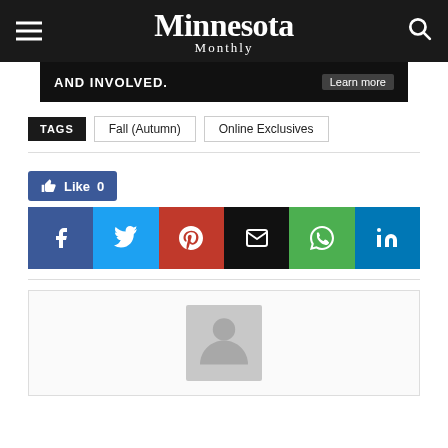Minnesota Monthly
[Figure (photo): Advertisement banner with text AND INVOLVED. Learn more]
TAGS  Fall (Autumn)  Online Exclusives
[Figure (infographic): Social share buttons: Facebook Like 0, Facebook, Twitter, Pinterest, Email, WhatsApp, LinkedIn]
[Figure (photo): Default author avatar placeholder — grey silhouette person icon in a light grey box]